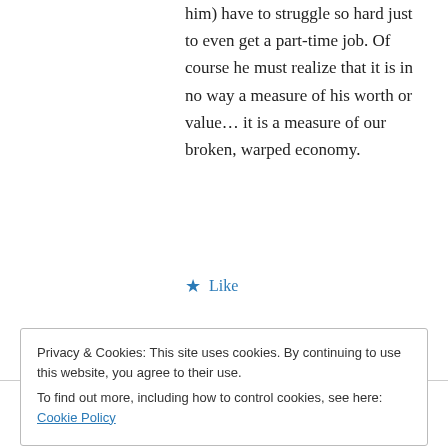him) have to struggle so hard just to even get a part-time job. Of course he must realize that it is in no way a measure of his worth or value… it is a measure of our broken, warped economy.
★ Like
↳ Reply
irishroverpei on January 11, 2013 at 1:59 pm
Great blog and thank you for visiting my blog
Privacy & Cookies: This site uses cookies. By continuing to use this website, you agree to their use.
To find out more, including how to control cookies, see here: Cookie Policy
Close and accept